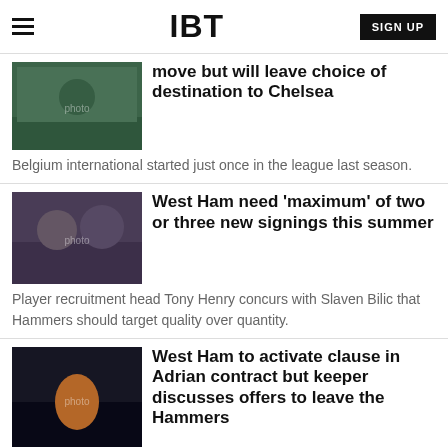IBT
[Figure (photo): Soccer goalkeeper making a save on the ground]
move but will leave choice of destination to Chelsea
Belgium international started just once in the league last season.
[Figure (photo): Two men in West Ham training gear having a discussion]
West Ham need 'maximum' of two or three new signings this summer
Player recruitment head Tony Henry concurs with Slaven Bilic that Hammers should target quality over quantity.
[Figure (photo): West Ham goalkeeper Adrian in orange kit on pitch]
West Ham to activate clause in Adrian contract but keeper discusses offers to leave the Hammers
Spaniard is out of contract this summer but the club have an